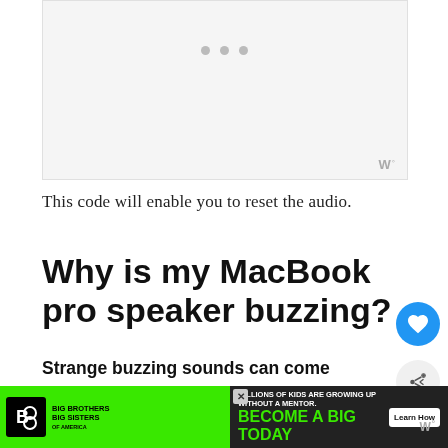[Figure (screenshot): Light gray placeholder screenshot area with three dots indicating loading/media content]
This code will enable you to reset the audio.
Why is my MacBook pro speaker buzzing?
Strange buzzing sounds can come from your Macbook Pro speakers because of dust, audio settings, damaged speakers or issues with the PRAM.
[Figure (infographic): What's Next card: 'How to Fix Soundbar...' with red thumbnail]
[Figure (photo): Ad banner: Big Brothers Big Sisters - Millions of kids are growing up without a mentor. Become a Big Today. Learn How.]